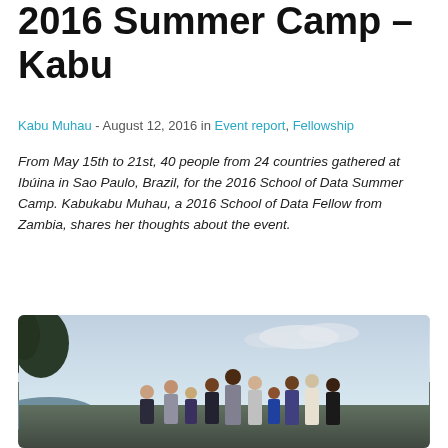2016 Summer Camp – Kabu
Kabu Muhau - August 12, 2016 in Event report, Fellowship
From May 15th to 21st, 40 people from 24 countries gathered at Ibúina in Sao Paulo, Brazil, for the 2016 School of Data Summer Camp. Kabukabu Muhau, a 2016 School of Data Fellow from Zambia, shares her thoughts about the event.
[Figure (photo): Group photo of approximately 10 people standing together outdoors near a body of water with trees and cloudy sky in the background]